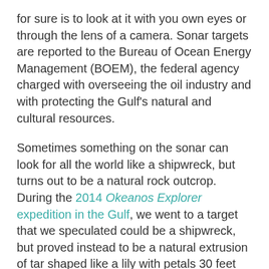for sure is to look at it with you own eyes or through the lens of a camera. Sonar targets are reported to the Bureau of Ocean Energy Management (BOEM), the federal agency charged with overseeing the oil industry and with protecting the Gulf's natural and cultural resources.
Sometimes something on the sonar can look for all the world like a shipwreck, but turns out to be a natural rock outcrop. During the 2014 Okeanos Explorer expedition in the Gulf, we went to a target that we speculated could be a shipwreck, but proved instead to be a natural extrusion of tar shaped like a lily with petals 30 feet across! Other times something that looks like a pile of junk could actually be a 300-year old shipwreck!